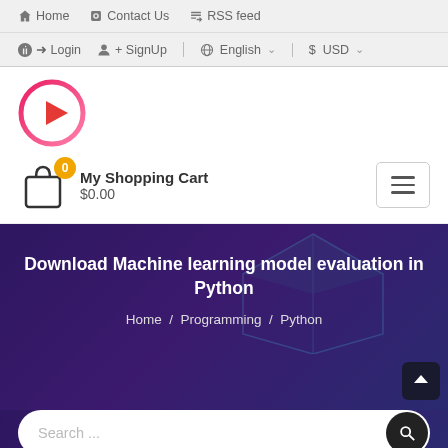Home  Contact Us  RSS feed
Login  SignUp  English  USD
[Figure (logo): Circular logo with red and pink gradient border and a red play button triangle in center]
My Shopping Cart  $0.00
Download Machine learning model evaluation in Python
Home / Programming / Python